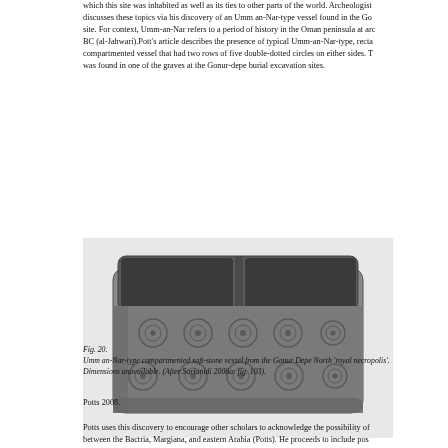which this site was inhabited as well as its ties to other parts of the world. Archeologist discusses these topics via his discovery of an Umm an-Nar-type vessel found in the Gonur site. For context, Umm-an-Nar refers to a period of history in the Oman peninsula at around BC (al-Jahwari). Pott's article describes the presence of typical Umm-an-Nar-type, rectangular compartmented vessel that had two rows of five double-dotted circles on either sides. This vessel was found in one of the graves at the Gonur-depe burial excavation sites.
[Figure (photo): Black and white photograph of an Umm an-Nar-type compartmented soft-stone vessel from the Gonur Depe North royal necropolis. The rectangular vessel has two compartments and is decorated with double-dotted circle motifs around its exterior.]
Fig. 20.
Umm an-Nar-type compartmented soft-stone vessel from the Gonur Depe North 'royal necropolis'. Dimensions unavailable. (After Sarianidi 2006a: fig. 103).
Potts 2008.
Potts uses this discovery to encourage other scholars to acknowledge the possibility of between the Bactria, Margiana, and eastern Arabia (Potts). He proceeds to include pos